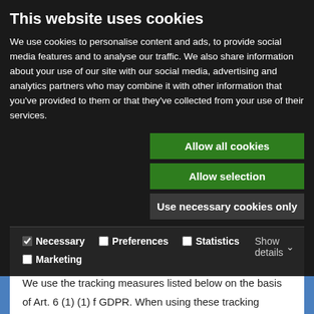This website uses cookies
We use cookies to personalise content and ads, to provide social media features and to analyse our traffic. We also share information about your use of our site with our social media, advertising and analytics partners who may combine it with other information that you've provided to them or that they've collected from your use of their services.
Allow all cookies
Allow selection
Use necessary cookies only
Necessary  Preferences  Statistics  Marketing  Show details
PARTY TOOLS
Tracking tools
We use the tracking measures listed below on the basis of Art. 6 (1) (1) f GDPR. When using these tracking measures our goal is to ensure that our website is designed to meet